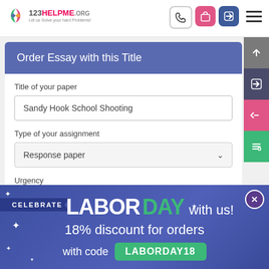[Figure (screenshot): 123HelpMe.org website header with logo and navigation icons (phone, bag, login, menu)]
Order Essay with this Title
Title of your paper
Sandy Hook School Shooting
Type of your assignment
Response paper
Urgency
[Figure (infographic): Labor Day promotional banner: CELEBRATE LABOR DAY with us! 18% discount for orders with code LABORDAY18]